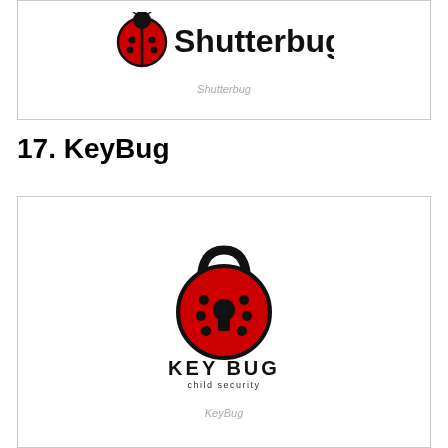[Figure (logo): Shutterbug logo: red ladybug icon with Shutterbug text in bold black sans-serif]
Shutterbug
17. KeyBug
[Figure (logo): KeyBug child security logo: red padlock shaped like a bug with black outline, bold black text KEY BUG and smaller text child security below]
KeyBug